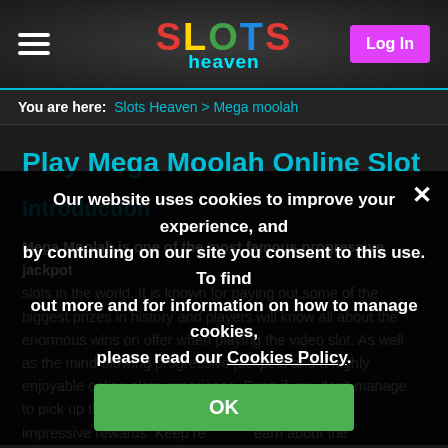SLOTS heaven | Log In
You are here: Slots Heaven > Mega moolah
Play Mega Moolah Online Slot
Introduction
Mega Moolah is one of the most famous progressive jackpot slots in the world. It is known for paying out some of the biggest prizes in history and players will know all about the enormous wins on offer when playing the video slot. As well as the mind-blowing progressive jackpots and a highly enjoyable online slots experience. Even if you don't manage to pick up the big jackpot you can walk away with some impressive rewards. Keep reading to learn about the
Our website uses cookies to improve your experience, and by continuing on our site you consent to this use. To find out more and for information on how to manage cookies, please read our Cookies Policy.